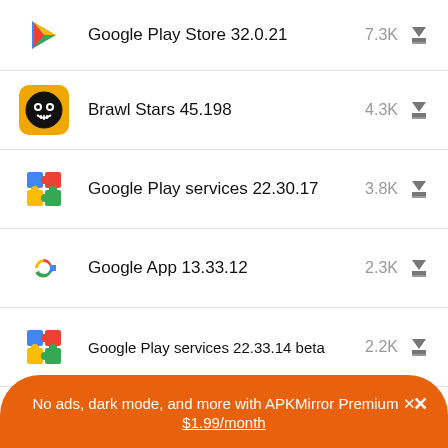Google Play Store 32.0.21 — 7.3K
Brawl Stars 45.198 — 4.3K
Google Play services 22.30.17 — 3.8K
Google App 13.33.12 — 2.3K
Google Play services 22.33.14 beta — 2.2K
Facebook Lite 318.0.0.16.105 — 1.7K
No ads, dark mode, and more with APKMirror Premium × $1.99/month